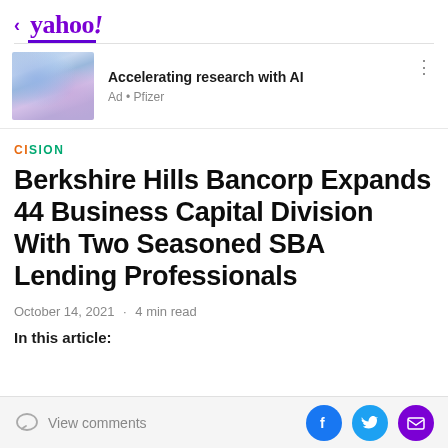< yahoo!
[Figure (screenshot): Advertisement banner with blue swirling abstract image for Pfizer AI research ad]
Accelerating research with AI
Ad • Pfizer
CISION
Berkshire Hills Bancorp Expands 44 Business Capital Division With Two Seasoned SBA Lending Professionals
October 14, 2021 · 4 min read
In this article:
View comments